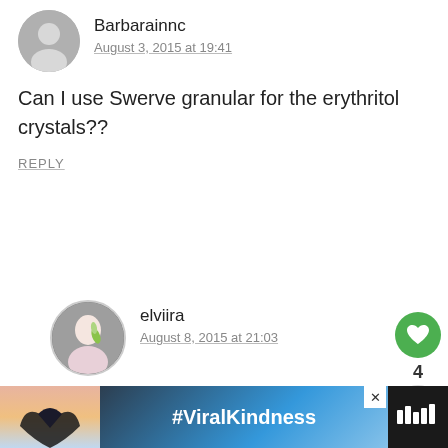Barbarainnc
August 3, 2015 at 19:41
Can I use Swerve granular for the erythritol crystals??
REPLY
elviira
August 8, 2015 at 21:03
Hi, yes, that should work (though I'm not sure how they would dissolve), however nowadays I would use powdered sweetener, that dissolves
[Figure (infographic): Ad banner with silhouette of hands forming a heart shape, text #ViralKindness on gradient background, close button X, and logo on right]